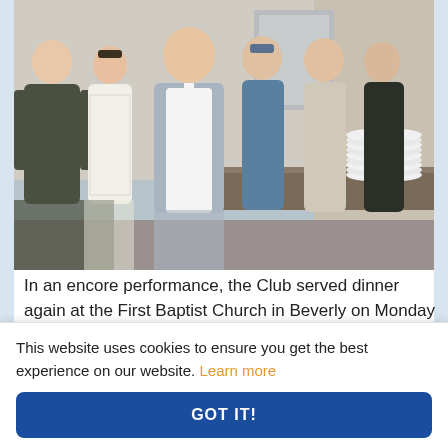[Figure (photo): Group photo of six club members (Peter Hoare, Memory Layne, Sean Zahn, Bill Donnelly, Chris Shea and Brian Sollosy) standing in a kitchen at the First Baptist Church in Beverly. One person wears a white chef's apron, another wears a decorative apron. Stacked white plates visible on counter in background.]
In an encore performance, the Club served dinner again at the First Baptist Church in Beverly on Monday this week. Pictured l-r are club members Peter Hoare, Memory Layne, Sean Zahn, Bill Donnelly, Chris Shea and Brian Sollosy.
This website uses cookies to ensure you get the best experience on our website. Learn more
GOT IT!